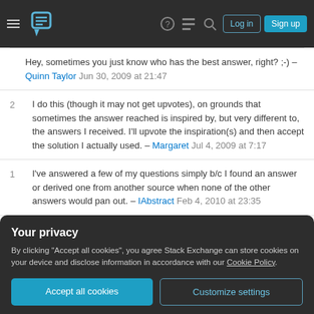Stack Exchange navigation bar with Log in and Sign up buttons
Hey, sometimes you just know who has the best answer, right? ;-) – Quinn Taylor Jun 30, 2009 at 21:47
2  I do this (though it may not get upvotes), on grounds that sometimes the answer reached is inspired by, but very different to, the answers I received. I'll upvote the inspiration(s) and then accept the solution I actually used. – Margaret Jul 4, 2009 at 7:17
1  I've answered a few of my questions simply b/c I found an answer or derived one from another source when none of the other answers would pan out. – IAbstract Feb 4, 2010 at 23:35
Your privacy
By clicking "Accept all cookies", you agree Stack Exchange can store cookies on your device and disclose information in accordance with our Cookie Policy.
Accept all cookies   Customize settings
a moderator, is accepted. Could be awarded multiple ti...